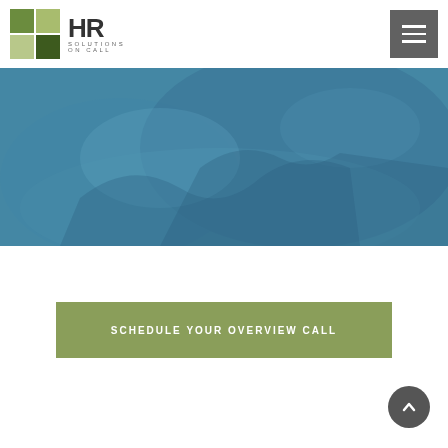[Figure (logo): HR Solutions On Call logo with green grid squares and HR text]
[Figure (photo): Blue-tinted hero image showing hands working, medical/HR themed]
SCHEDULE YOUR OVERVIEW CALL
[Figure (other): Dark gray back-to-top button with upward chevron arrow]